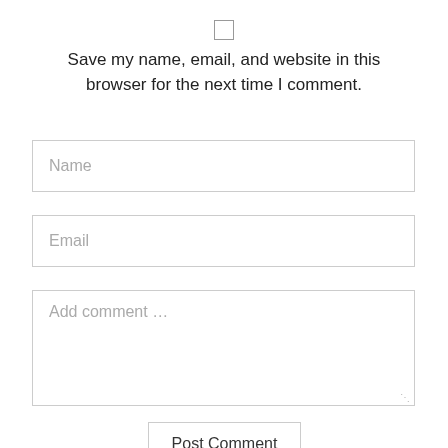[Figure (screenshot): Checkbox (unchecked) above save browser info text]
Save my name, email, and website in this browser for the next time I comment.
[Figure (screenshot): Name input field with placeholder text 'Name']
[Figure (screenshot): Email input field with placeholder text 'Email']
[Figure (screenshot): Comment textarea with placeholder text 'Add comment ...']
[Figure (screenshot): Post Comment submit button]